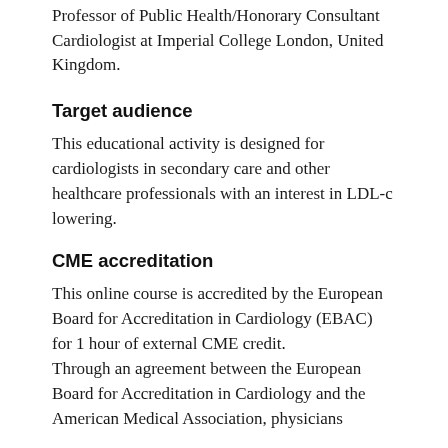Professor of Public Health/Honorary Consultant Cardiologist at Imperial College London, United Kingdom.
Target audience
This educational activity is designed for cardiologists in secondary care and other healthcare professionals with an interest in LDL-c lowering.
CME accreditation
This online course is accredited by the European Board for Accreditation in Cardiology (EBAC) for 1 hour of external CME credit.
Through an agreement between the European Board for Accreditation in Cardiology and the American Medical Association, physicians...